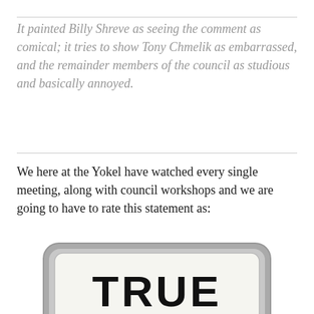It painted Billy Shreve as seeing the comment as comical; it tries to show Tony Chmelik as embarrassed, and the remainder members of the council as studious and basically annoyed.
We here at the Yokel have watched every single meeting, along with council workshops and we are going to have to rate this statement as:
[Figure (illustration): A badge/shield shaped graphic with rounded rectangle border in grey, containing the word TRUE in large bold black letters on a light background, resembling a fact-check rating badge.]